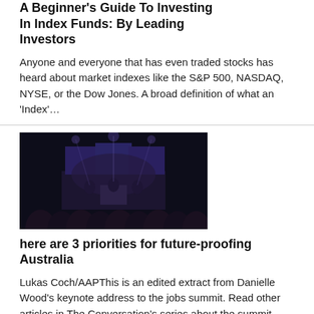A Beginner's Guide To Investing In Index Funds: By Leading Investors
Anyone and everyone that has even traded stocks has heard about market indexes like the S&P 500, NASDAQ, NYSE, or the Dow Jones. A broad definition of what an 'Index'…
[Figure (photo): Dark conference hall with stage lighting and audience, speakers on stage with screens behind them]
here are 3 priorities for future-proofing Australia
Lukas Coch/AAPThis is an edited extract from Danielle Wood's keynote address to the jobs summit. Read other articles in The Conversation's series about the summit here.In an economic landscape that…
Government to legislate for